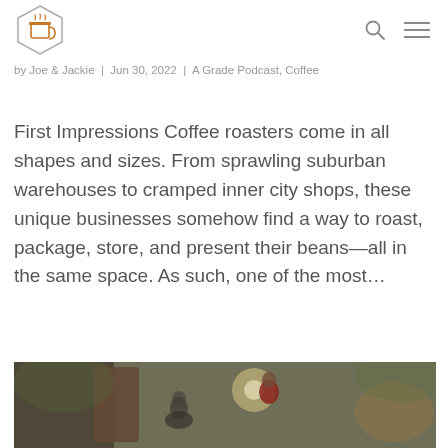[Logo: coffee cup hexagon icon] [Search icon] [Menu icon]
by Joe & Jackie | Jun 30, 2022 | A Grade Podcast, Coffee
First Impressions Coffee roasters come in all shapes and sizes. From sprawling suburban warehouses to cramped inner city shops, these unique businesses somehow find a way to roast, package, store, and present their beans—all in the same space. As such, one of the most...
[Figure (photo): Blurred interior photo of a coffee shop or roastery with people visible, warm ambient lighting, outdoor/woodland setting visible through windows.]